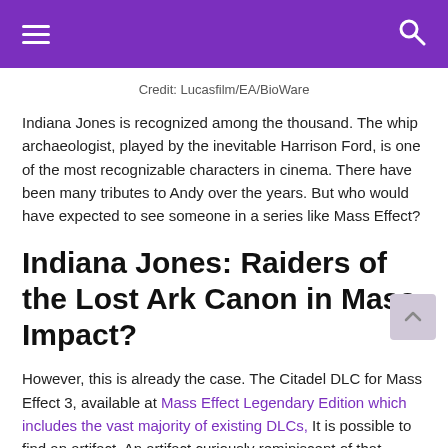☰  [navigation header with search icon]
Credit: Lucasfilm/EA/BioWare
Indiana Jones is recognized among the thousand. The whip archaeologist, played by the inevitable Harrison Ford, is one of the most recognizable characters in cinema. There have been many tributes to Andy over the years. But who would have expected to see someone in a series like Mass Effect?
Indiana Jones: Raiders of the Lost Ark Canon in Mass Impact?
However, this is already the case. The Citadel DLC for Mass Effect 3, available at Mass Effect Legendary Edition which includes the vast majority of existing DLCs, It is possible to find an artifact. An artifact curiously reminiscent of that followed by Indiana Jones in Raiders of the Lost Ark.
In the Citadel DLC, Commander Shepard can find the Ark of the Covenant. The artifact is hidden in this arc, just like